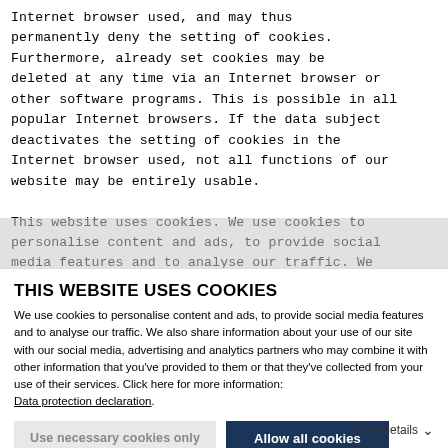Internet browser used, and may thus permanently deny the setting of cookies. Furthermore, already set cookies may be deleted at any time via an Internet browser or other software programs. This is possible in all popular Internet browsers. If the data subject deactivates the setting of cookies in the Internet browser used, not all functions of our website may be entirely usable.
This website uses cookies. We use cookies to personalise content and ads, to provide social media features and to analyse our traffic. We
THIS WEBSITE USES COOKIES
We use cookies to personalise content and ads, to provide social media features and to analyse our traffic. We also share information about your use of our site with our social media, advertising and analytics partners who may combine it with other information that you've provided to them or that they've collected from your use of their services. Click here for more information: Data protection declaration.